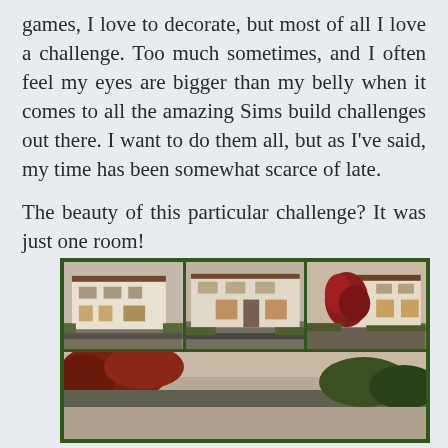games, I love to decorate, but most of all I love a challenge. Too much sometimes, and I often feel my eyes are bigger than my belly when it comes to all the amazing Sims build challenges out there. I want to do them all, but as I've said, my time has been somewhat scarce of late.

The beauty of this particular challenge? It was just one room!
[Figure (photo): A collage of screenshots from The Sims video game showing exterior views of a modern white building from multiple angles, with a red tree visible in one panel. The collage has a dark green border and is arranged in two rows: three equal panels on top, and one wide panel on the bottom partially cut off.]